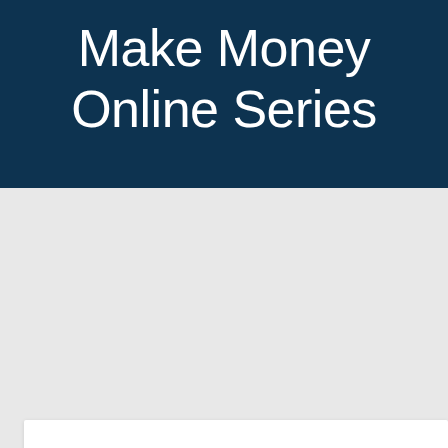Make Money Online Series
[Figure (other): White card/panel on light grey background, lower portion of page]